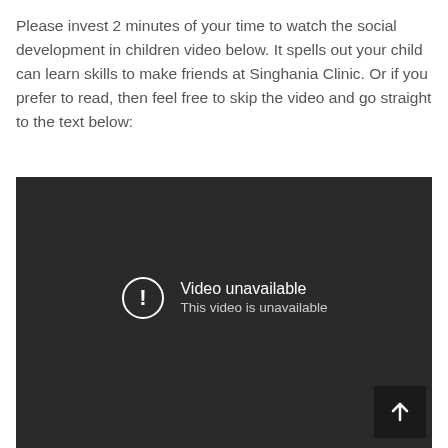Please invest 2 minutes of your time to watch the social development in children video below. It spells out your child can learn skills to make friends at Singhania Clinic. Or if you prefer to read, then feel free to skip the video and go straight to the text below:
[Figure (screenshot): Embedded video player showing error state: 'Video unavailable - This video is unavailable' with a circular exclamation icon and an arrow-up button in the bottom right corner. Background is dark gray/black.]